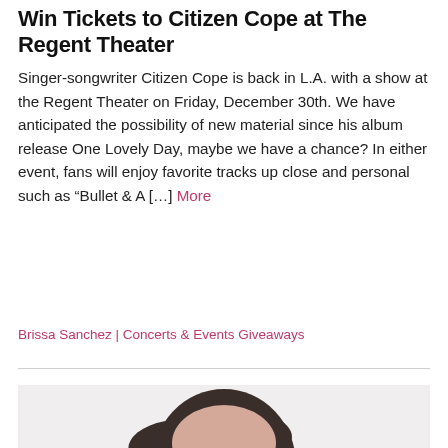Win Tickets to Citizen Cope at The Regent Theater
Singer-songwriter Citizen Cope is back in L.A. with a show at the Regent Theater on Friday, December 30th. We have anticipated the possibility of new material since his album release One Lovely Day, maybe we have a chance? In either event, fans will enjoy favorite tracks up close and personal such as “Bullet & A […] More
Brissa Sanchez | Concerts & Events Giveaways
[Figure (photo): Close-up photo of a woman with dark straight hair styled in a bob, looking slightly downward, against a light grey/white background.]